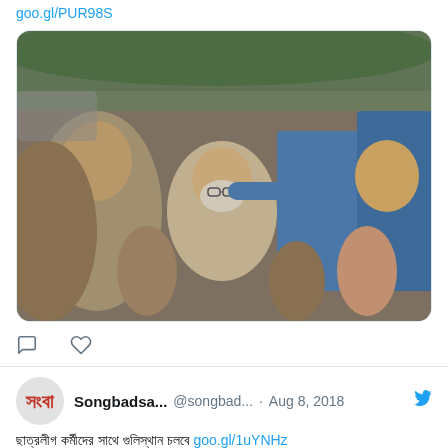goo.gl/PUR98S
[Figure (photo): A man being restrained or escorted by police officers and crowd in Bangladesh]
[Figure (illustration): Twitter action icons: comment and like (heart)]
Songbadsa... @songbad... · Aug 8, 2018
Bengali text followed by link: goo.gl/1uYNHz
[Figure (photo): Large crowd of people gathered in an open area, possibly a station or public space]